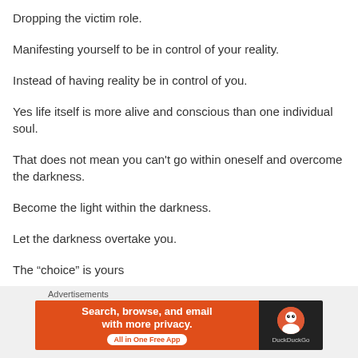Dropping the victim role.
Manifesting yourself to be in control of your reality.
Instead of having reality be in control of you.
Yes life itself is more alive and conscious than one individual soul.
That does not mean you can't go within oneself and overcome the darkness.
Become the light within the darkness.
Let the darkness overtake you.
The “choice” is yours
[Figure (other): DuckDuckGo advertisement banner with orange background on left showing 'Search, browse, and email with more privacy. All in One Free App' and dark background on right with DuckDuckGo logo]